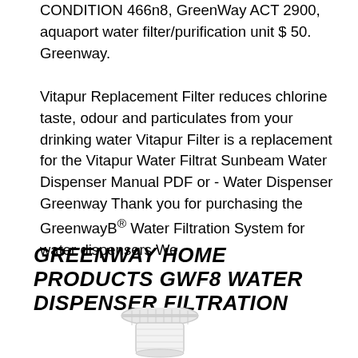CONDITION 466n8, GreenWay ACT 2900, aquaport water filter/purification unit $ 50. Greenway.
Vitapur Replacement Filter reduces chlorine taste, odour and particulates from your drinking water Vitapur Filter is a replacement for the Vitapur Water Filtrat Sunbeam Water Dispenser Manual PDF or - Water Dispenser Greenway Thank you for purchasing the GreenwayB® Water Filtration System for water dispensers We
GREENWAY HOME PRODUCTS GWF8 WATER DISPENSER FILTRATION
[Figure (illustration): A white water filter cartridge/replacement filter unit shown from above at slight angle]